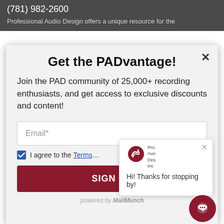(781) 982-2600
Professional Audio Design offers a unique resource for the
Get the PADvantage!
Join the PAD community of 25,000+ recording enthusiasts, and get access to exclusive discounts and content!
Email*
I agree to the Terms
SIGN UP
powered by MailMunch
Hi! Thanks for stopping by!